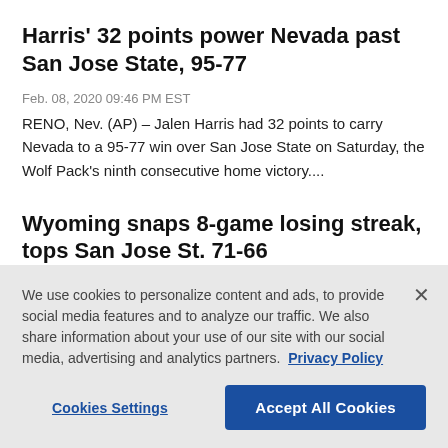Harris' 32 points power Nevada past San Jose State, 95-77
Feb. 08, 2020 09:46 PM EST
RENO, Nev. (AP) – Jalen Harris had 32 points to carry Nevada to a 95-77 win over San Jose State on Saturday, the Wolf Pack's ninth consecutive home victory....
Wyoming snaps 8-game losing streak, tops San Jose St. 71-66
We use cookies to personalize content and ads, to provide social media features and to analyze our traffic. We also share information about your use of our site with our social media, advertising and analytics partners. Privacy Policy
Cookies Settings | Accept All Cookies